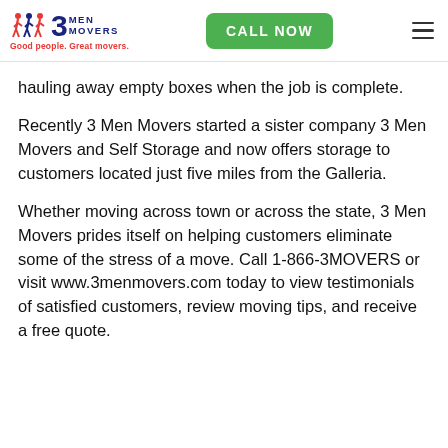3 Men Movers — Good people. Great movers. | CALL NOW
hauling away empty boxes when the job is complete.
Recently 3 Men Movers started a sister company 3 Men Movers and Self Storage and now offers storage to customers located just five miles from the Galleria.
Whether moving across town or across the state, 3 Men Movers prides itself on helping customers eliminate some of the stress of a move. Call 1-866-3MOVERS or visit www.3menmovers.com today to view testimonials of satisfied customers, review moving tips, and receive a free quote.